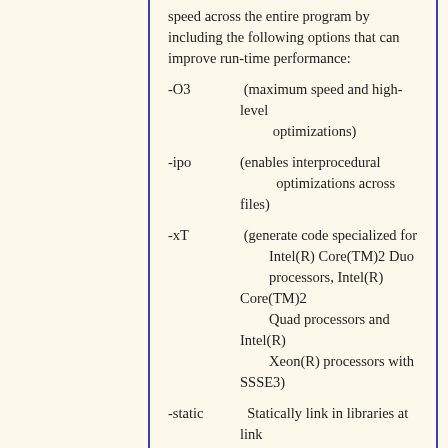speed across the entire program by including the following options that can improve run-time performance:
-O3  (maximum speed and high-level optimizations)
-ipo (enables interprocedural optimizations across files)
-xT  (generate code specialized for Intel(R) Core(TM)2 Duo processors, Intel(R) Core(TM)2 Quad processors and Intel(R) Xeon(R) processors with SSSE3)
-static  Statically link in libraries at link time
-no-prec-div (disable -prec-div) where -prec-div improves precision of FP divides (some speed impact)
To override one of the options set by /fast, specify that option after the -fast option on the command line. The